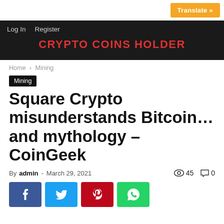Translate »
Log In  Register  CRYPTO COINS HOLDER
Home › Mining
Mining
Square Crypto misunderstands Bitcoin…and mythology – CoinGeek
By admin - March 29, 2021  45  0
[Figure (other): Social share buttons: Facebook, Twitter, Pinterest, WhatsApp]